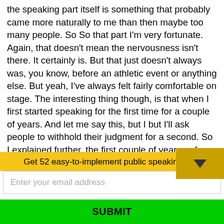the speaking part itself is something that probably came more naturally to me than then maybe too many people. So So that part I'm very fortunate. Again, that doesn't mean the nervousness isn't there. It certainly is. But that just doesn't always was, you know, before an athletic event or anything else. But yeah, I've always felt fairly comfortable on stage. The interesting thing though, is that when I first started speaking for the first time for a couple of years. And let me say this, but I but I'll ask people to withhold their judgment for a second. So I explained further, the first couple of years or few years I was a speaker, I was perfect. Now, here's what I need. What I
Get 52 easy-to-implement public speaking tips!
Enter your email address
SUBMIT